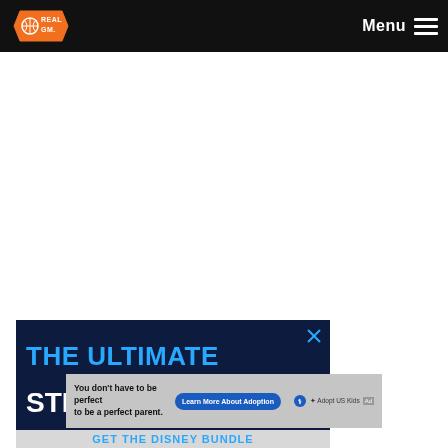RealGM — Menu
[Figure (screenshot): White empty content area]
[Figure (screenshot): Advertisement banner: THE ULTIMATE STREAMING TRIO — Disney Bundle ad with dark navy background and blue/white bold text]
[Figure (screenshot): Advertisement banner: You don't have to be perfect to be a perfect parent. — Adopt US Kids ad with gray background, blue button saying Learn More About Adoption]
GET THE DISNEY BUNDLE